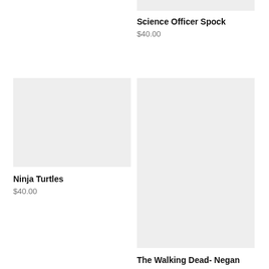[Figure (photo): Product image placeholder for Science Officer Spock (partially cropped at top)]
Science Officer Spock
$40.00
[Figure (photo): Product image placeholder for Ninja Turtles]
Ninja Turtles
$40.00
[Figure (photo): Product image placeholder for The Walking Dead- Negan]
The Walking Dead- Negan
$40.00